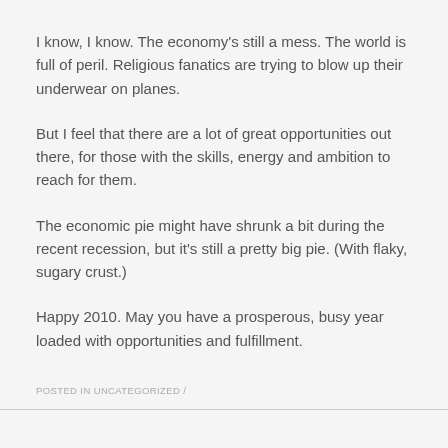I know, I know. The economy's still a mess. The world is full of peril. Religious fanatics are trying to blow up their underwear on planes.
But I feel that there are a lot of great opportunities out there, for those with the skills, energy and ambition to reach for them.
The economic pie might have shrunk a bit during the recent recession, but it's still a pretty big pie. (With flaky, sugary crust.)
Happy 2010. May you have a prosperous, busy year loaded with opportunities and fulfillment.
POSTED IN UNCATEGORIZED /